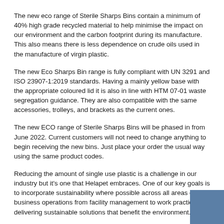The new eco range of Sterile Sharps Bins contain a minimum of 40% high grade recycled material to help minimise the impact on our environment and the carbon footprint during its manufacture. This also means there is less dependence on crude oils used in the manufacture of virgin plastic.
The new Eco Sharps Bin range is fully compliant with UN 3291 and ISO 23907-1:2019 standards. Having a mainly yellow base with the appropriate coloured lid it is also in line with HTM 07-01 waste segregation guidance. They are also compatible with the same accessories, trolleys, and brackets as the current ones.
The new ECO range of Sterile Sharps Bins will be phased in from June 2022. Current customers will not need to change anything to begin receiving the new bins. Just place your order the usual way using the same product codes.
Reducing the amount of single use plastic is a challenge in our industry but it's one that Helapet embraces. One of our key goals is to incorporate sustainability where possible across all areas of our business operations from facility management to work practices, delivering sustainable solutions that benefit the environment.